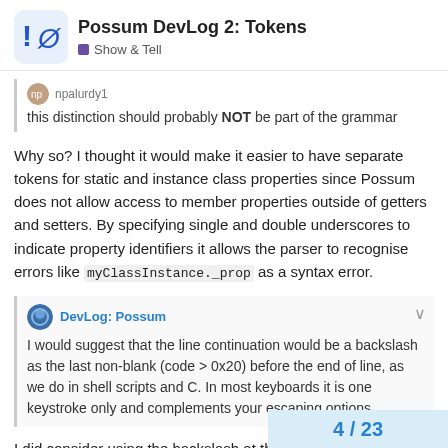Possum DevLog 2: Tokens — Show & Tell
this distinction should probably NOT be part of the grammar
Why so? I thought it would make it easier to have separate tokens for static and instance class properties since Possum does not allow access to member properties outside of getters and setters. By specifying single and double underscores to indicate property identifiers it allows the parser to recognise errors like myClassInstance._prop as a syntax error.
DevLog: Possum
I would suggest that the line continuation would be a backslash as the last non-blank (code > 0x20) before the end of line, as we do in shell scripts and C. In most keyboards it is one keystroke only and complements your escaping options.
I did consider using the backslash at the e
4 / 23